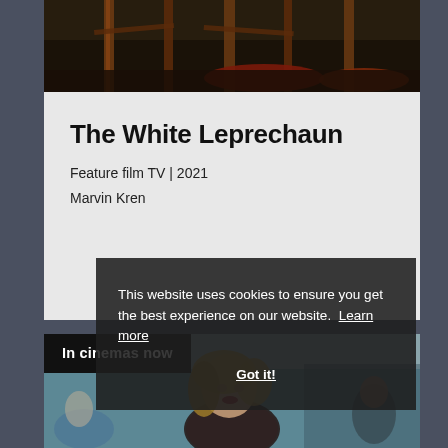[Figure (photo): Top strip photo showing wooden poles/boats in a dark outdoor scene]
The White Leprechaun
Feature film TV | 2021
Marvin Kren
[Figure (photo): Bottom photo showing a blonde woman in a speckled jacket looking upward, in what appears to be a medical or institutional setting, with other people in the background]
In cinemas now
This website uses cookies to ensure you get the best experience on our website.  Learn more
Got it!